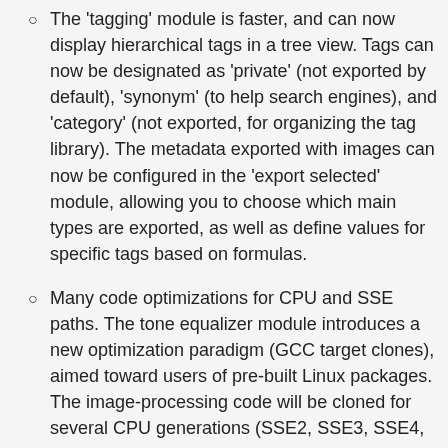The 'tagging' module is faster, and can now display hierarchical tags in a tree view. Tags can now be designated as 'private' (not exported by default), 'synonym' (to help search engines), and 'category' (not exported, for organizing the tag library). The metadata exported with images can now be configured in the 'export selected' module, allowing you to choose which main types are exported, as well as define values for specific tags based on formulas.
Many code optimizations for CPU and SSE paths. The tone equalizer module introduces a new optimization paradigm (GCC target clones), aimed toward users of pre-built Linux packages. The image-processing code will be cloned for several CPU generations (SSE2, SSE3, SSE4, AVX, AVX2) at compilation time, and the best-suited version of the code will be chosen by the